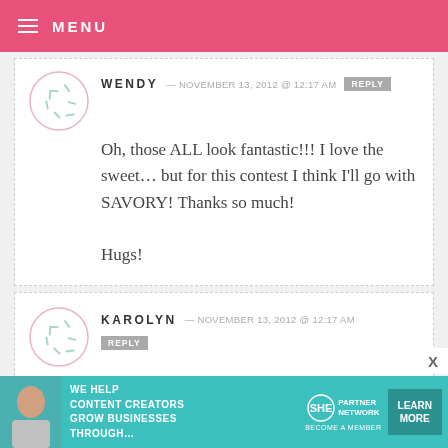MENU
WENDY — NOVEMBER 13, 2012 @ 12:17 AM REPLY
Oh, those ALL look fantastic!!! I love the sweet... but for this contest I think I'll go with SAVORY! Thanks so much!

Hugs!
KAROLYN — NOVEMBER 13, 2012 @ 12:17 AM REPLY
Sweet, sweet, sweet! :-) :-)

You're the greatest, Bakerella!